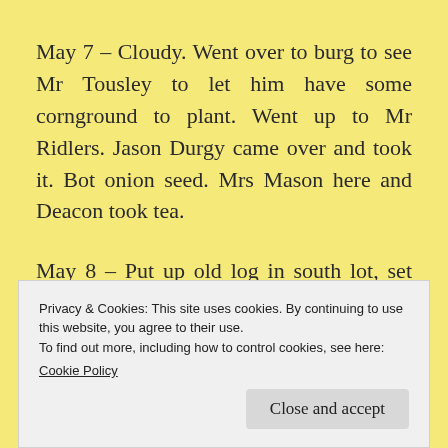May 7 – Cloudy. Went over to burg to see Mr Tousley to let him have some cornground to plant. Went up to Mr Ridlers. Jason Durgy came over and took it. Bot onion seed. Mrs Mason here and Deacon took tea.
May 8 – Put up old log in south lot, set steaks for gate posts. Nancy and Hannah went down to Skinners.
Privacy & Cookies: This site uses cookies. By continuing to use this website, you agree to their use. To find out more, including how to control cookies, see here: Cookie Policy